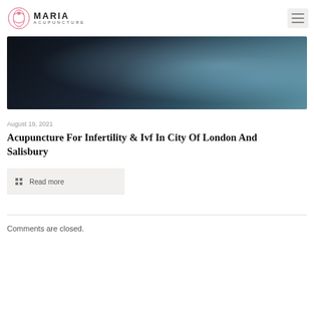Maria Acupuncture
[Figure (photo): Close-up photo of water surface with dark and light blue tones, partial dark silhouette visible at top left]
August 19, 2021
Acupuncture For Infertility & Ivf In City Of London And Salisbury
Read more
Comments are closed.